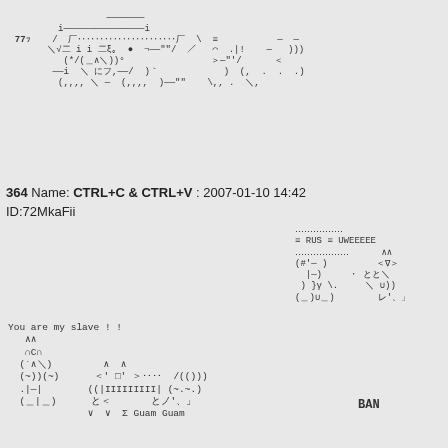[Figure (illustration): ASCII art depicting anime-style characters, top portion of the page with kaomoji and text art characters fighting or interacting]
364  Name: CTRL+C & CTRL+V : 2007-01-10 14:42
ID:72MkaFii
[Figure (illustration): ASCII art in the middle-right showing RUS UWEEEEE text with kaomoji characters and Japanese characters]
[Figure (illustration): ASCII art in bottom-left showing 'You are my slave !!' text with cat-like kaomoji characters and Guam Guam text]